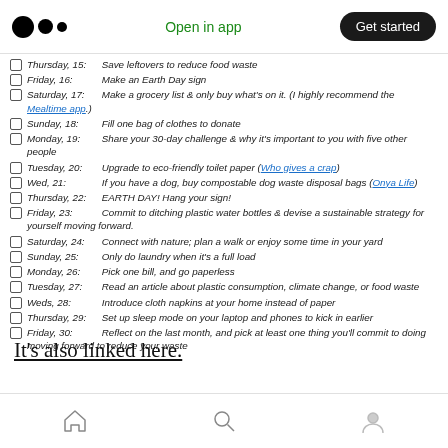Medium logo | Open in app | Get started
Thursday, 15: Save leftovers to reduce food waste
Friday, 16: Make an Earth Day sign
Saturday, 17: Make a grocery list & only buy what's on it. (I highly recommend the Mealtime app.)
Sunday, 18: Fill one bag of clothes to donate
Monday, 19: Share your 30-day challenge & why it's important to you with five other people
Tuesday, 20: Upgrade to eco-friendly toilet paper (Who gives a crap)
Wed, 21: If you have a dog, buy compostable dog waste disposal bags (Onya Life)
Thursday, 22: EARTH DAY! Hang your sign!
Friday, 23: Commit to ditching plastic water bottles & devise a sustainable strategy for yourself moving forward.
Saturday, 24: Connect with nature; plan a walk or enjoy some time in your yard
Sunday, 25: Only do laundry when it's a full load
Monday, 26: Pick one bill, and go paperless
Tuesday, 27: Read an article about plastic consumption, climate change, or food waste
Weds, 28: Introduce cloth napkins at your home instead of paper
Thursday, 29: Set up sleep mode on your laptop and phones to kick in earlier
Friday, 30: Reflect on the last month, and pick at least one thing you'll commit to doing moving forward to reduce your waste
It's also linked here.
These next 30-days are coming whether we want them to or not, why not do something wonderful
Home | Search | Profile